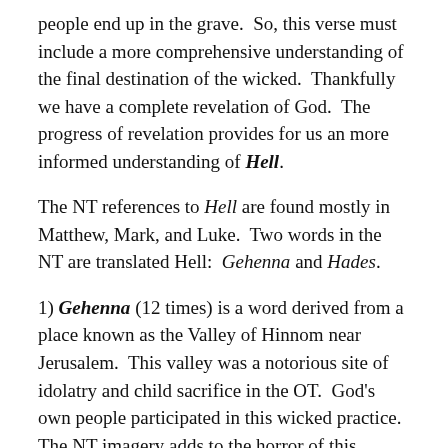people end up in the grave.  So, this verse must include a more comprehensive understanding of the final destination of the wicked.  Thankfully we have a complete revelation of God.  The progress of revelation provides for us an more informed understanding of Hell.
The NT references to Hell are found mostly in Matthew, Mark, and Luke.  Two words in the NT are translated Hell:  Gehenna and Hades.
1) Gehenna (12 times) is a word derived from a place known as the Valley of Hinnom near Jerusalem.  This valley was a notorious site of idolatry and child sacrifice in the OT.  God's own people participated in this wicked practice.  The NT imagery adds to the horror of this place.  It was a place of constantly burning refuse in Jesus' day.  Occasionally, a murder victim would be dumped in